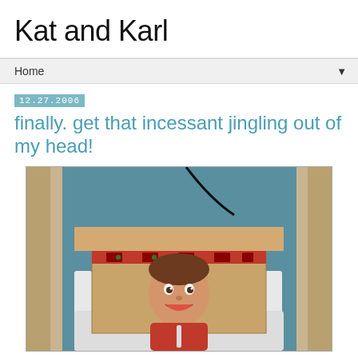Kat and Karl
Home
12.27.2006
finally. get that incessant jingling out of my head!
[Figure (photo): A young boy smiling, sitting inside a large cardboard box decorated with red holiday ribbon/tape, wearing a red outfit, sitting on a white chair. Tan curtains visible on sides, teal/blue wall in background, black cord visible at top.]